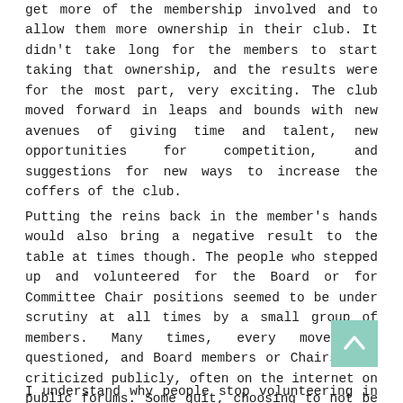get more of the membership involved and to allow them more ownership in their club. It didn't take long for the members to start taking that ownership, and the results were for the most part, very exciting. The club moved forward in leaps and bounds with new avenues of giving time and talent, new opportunities for competition, and suggestions for new ways to increase the coffers of the club.
Putting the reins back in the member's hands would also bring a negative result to the table at times though. The people who stepped up and volunteered for the Board or for Committee Chair positions seemed to be under scrutiny at all times by a small group of members. Many times, every move was questioned, and Board members or Chairs were criticized publicly, often on the internet on public forums. Some quit, choosing to not be subjected to the harassment. Others grew silent, so as to not draw any undue attention to themselves. As I watched this happen, it made me sad, and angry, and weary.
I understand why people stop volunteering in dog clubs